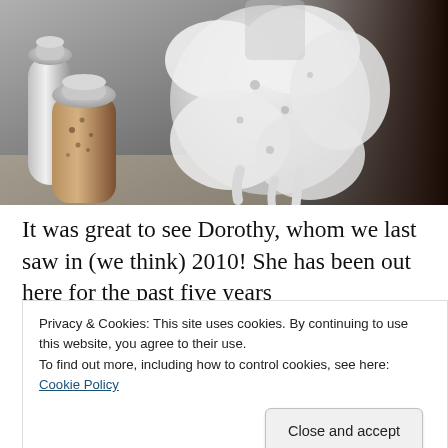[Figure (photo): Photo of a foamy white substance expanding over what appears to be a container, next to salt and pepper shakers, on a table with a dark background on the right.]
It was great to see Dorothy, whom we last saw in (we think) 2010! She has been out here for the past five years
Privacy & Cookies: This site uses cookies. By continuing to use this website, you agree to their use.
To find out more, including how to control cookies, see here: Cookie Policy
Close and accept
we all made the wrong life decisions. (But also, really fun.)